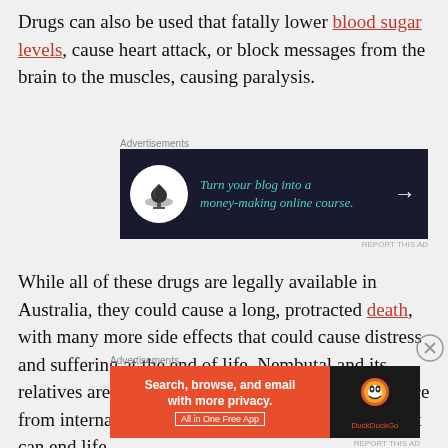Drugs can also be used that fatally lower blood sugar levels, cause heart attack, or block messages from the brain to the muscles, causing paralysis.
[Figure (screenshot): Advertisement banner: 'Turn your blog into a money-making online course.' on dark background with bonsai tree icon and arrow]
While all of these drugs are legally available in Australia, they could cause a long, protracted death, with many more side effects that could cause distress and suffering at the end of life. Nembutal and its relatives are less likely to do so, with greater evidence from international practices than any other drugs that can end life.
[Figure (screenshot): Advertisement banner: DuckDuckGo - 'Search, browse, and email with more privacy. All in One Free App']